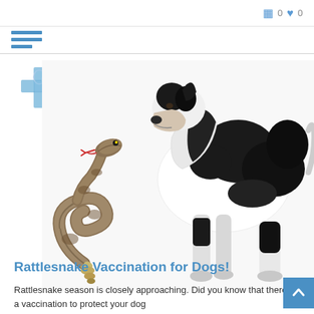0  0
[Figure (logo): Stockton Hill Animal Hospital logo — blue cross with animal silhouettes and text 'STOCKTON HILL ANIMAL HOSPITAL']
[Figure (photo): A large black and white Harlequin Great Dane dog leaning down to sniff a coiled rattlesnake that is rearing up with mouth open, on a white background]
Rattlesnake Vaccination for Dogs!
Rattlesnake season is closely approaching. Did you know that there is a vaccination to protect your dog